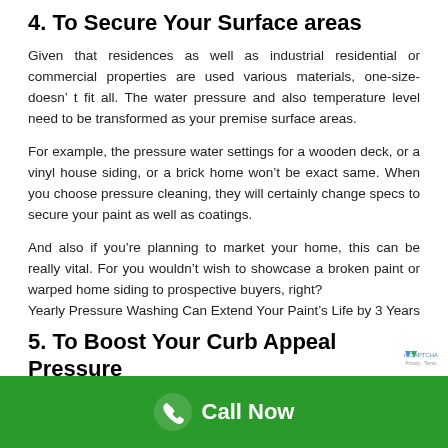4. To Secure Your Surface areas
Given that residences as well as industrial residential or commercial properties are used various materials, one-size-doesn’ t fit all. The water pressure and also temperature level need to be transformed as your premise surface areas.
For example, the pressure water settings for a wooden deck, or a vinyl house siding, or a brick home won’t be exact same. When you choose pressure cleaning, they will certainly change specs to secure your paint as well as coatings.
And also if you’re planning to market your home, this can be really vital. For you wouldn’t wish to showcase a broken paint or warped home siding to prospective buyers, right?
Yearly Pressure Washing Can Extend Your Paint’s Life by 3 Years
5. To Boost Your Curb Appeal Pressure
First impression is every little thing in business. If you own a retail store or a commercial building, presentation is your secret weapon
Call Now